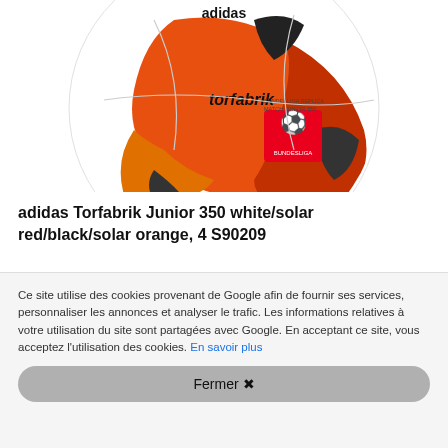[Figure (photo): Adidas Torfabrik Junior 350 soccer ball, white with orange, red and black markings, showing the Bundesliga logo and torfabrik branding text.]
adidas Torfabrik Junior 350 white/solar red/black/solar orange, 4 S90209
Ce site utilise des cookies provenant de Google afin de fournir ses services, personnaliser les annonces et analyser le trafic. Les informations relatives à votre utilisation du site sont partagées avec Google. En acceptant ce site, vous acceptez l'utilisation des cookies. En savoir plus
Fermer ✖